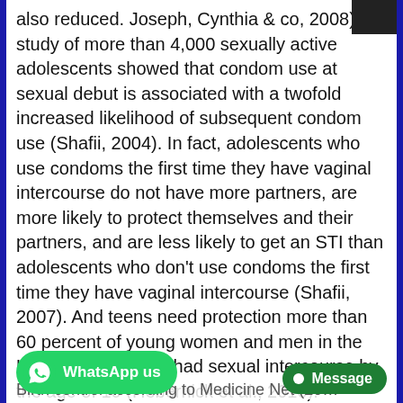also reduced. Joseph, Cynthia & co, 2008). A study of more than 4,000 sexually active adolescents showed that condom use at sexual debut is associated with a twofold increased likelihood of subsequent condom use (Shafii, 2004). In fact, adolescents who use condoms the first time they have vaginal intercourse do not have more partners, are more likely to protect themselves and their partners, and are less likely to get an STI than adolescents who don't use condoms the first time they have vaginal intercourse (Shafii, 2007). And teens need protection  more than 60 percent of young women and men in the United States have had sexual intercourse by the age of 19 (Hebernick et al., 2010).
Methods of Contraception
Birth control according to Medicine Net (20...